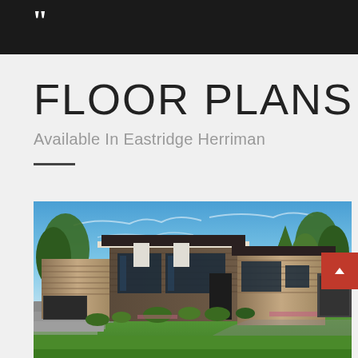[Figure (screenshot): Dark banner header with white quotation marks on black background]
FLOOR PLANS
Available In Eastridge Herriman
[Figure (photo): Exterior rendering of a modern prairie-style home with stone facade, dark wood siding, large windows, flat/low-pitch rooflines, surrounded by landscaping and blue sky]